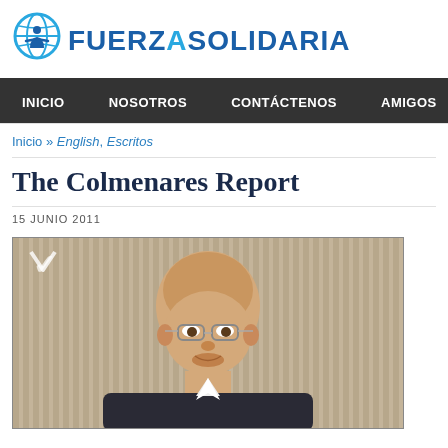[Figure (logo): Fuerza Solidaria logo with globe and person icon in blue, with the text FUERZA SOLIDARIA in dark blue and cyan]
INICIO   NOSOTROS   CONTÁCTENOS   AMIGOS
Inicio » English, Escritos
The Colmenares Report
15 JUNIO 2011
[Figure (photo): A bald man wearing glasses and a dark suit, photographed from the shoulders up, with a striped background. A small V-shaped logo is visible in the upper left corner of the image.]